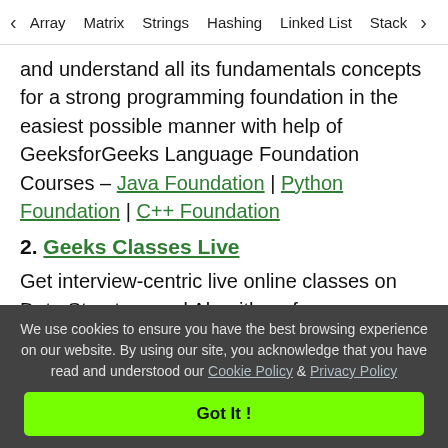< Array   Matrix   Strings   Hashing   Linked List   Stack >
and understand all its fundamentals concepts for a strong programming foundation in the easiest possible manner with help of GeeksforGeeks Language Foundation Courses – Java Foundation | Python Foundation | C++ Foundation
2. Geeks Classes Live
Get interview-centric live online classes on Data Structure and Algorithms from any geographical location to learn and master DSA concepts for enhancing your problem-solving & programming skills and to crack the interview of any product
We use cookies to ensure you have the best browsing experience on our website. By using our site, you acknowledge that you have read and understood our Cookie Policy & Privacy Policy
Got It !